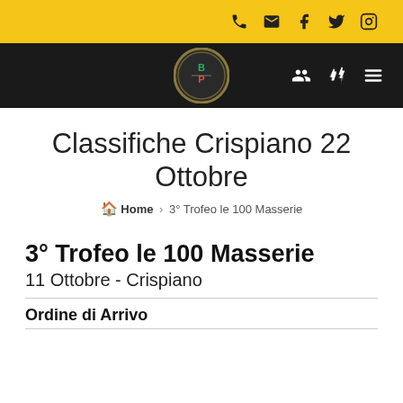📞 ✉ 🔵 🐦 📷
[Figure (logo): BP cycling club logo — circular badge with gear border, gold and dark background, letters BP with Italian flag colors]
Classifiche Crispiano 22 Ottobre
Home › 3° Trofeo le 100 Masserie
3° Trofeo le 100 Masserie
11 Ottobre - Crispiano
Ordine di Arrivo